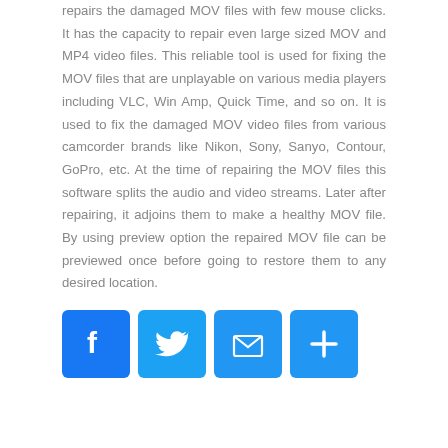repairs the damaged MOV files with few mouse clicks. It has the capacity to repair even large sized MOV and MP4 video files. This reliable tool is used for fixing the MOV files that are unplayable on various media players including VLC, Win Amp, Quick Time, and so on. It is used to fix the damaged MOV video files from various camcorder brands like Nikon, Sony, Sanyo, Contour, GoPro, etc. At the time of repairing the MOV files this software splits the audio and video streams. Later after repairing, it adjoins them to make a healthy MOV file. By using preview option the repaired MOV file can be previewed once before going to restore them to any desired location.
[Figure (other): Social media sharing buttons: Facebook (blue with f logo), Twitter (blue with bird logo), Email (blue with envelope icon), Share/Plus (blue with plus icon)]